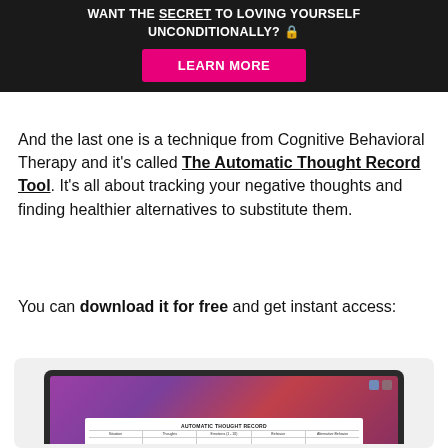me in reality and helps me become more familiar with my surroundings and calmer in moments.
WANT THE SECRET TO LOVING YOURSELF UNCONDITIONALLY? 🔒
LEARN MORE
And the last one is a technique from Cognitive Behavioral Therapy and it's called The Automatic Thought Record Tool. It's all about tracking your negative thoughts and finding healthier alternatives to substitute them.
You can download it for free and get instant access:
[Figure (screenshot): A laptop screen showing an 'Automatic Thought Record' document/spreadsheet with columns for Situation, Thoughts, Emotions, Behavior, and Alternative Behavior, displayed on a Mac-style desktop with a purple/red gradient wallpaper.]